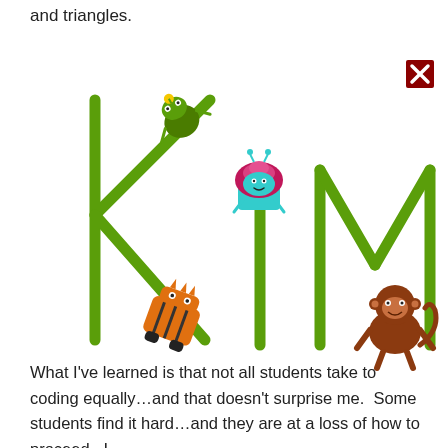and triangles.
[Figure (illustration): Colorful cartoon illustration spelling 'KiM' in large green letters, with cute cartoon characters: a green frog/monster on the K's diagonal, a cupcake character on the letter i, an orange monster/creature at the bottom of K, and a brown monkey at the bottom of M.]
What I've learned is that not all students take to coding equally…and that doesn't surprise me.  Some students find it hard…and they are at a loss of how to proceed.  I